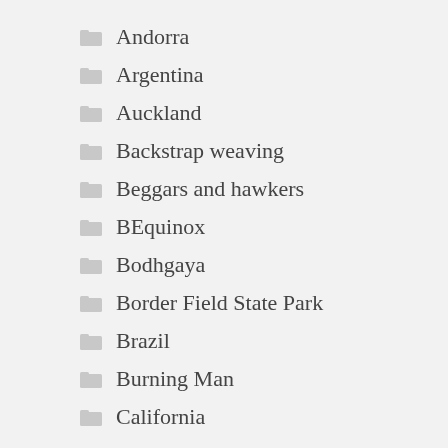Andorra
Argentina
Auckland
Backstrap weaving
Beggars and hawkers
BEquinox
Bodhgaya
Border Field State Park
Brazil
Burning Man
California
Camping
Central America
changing of the guard